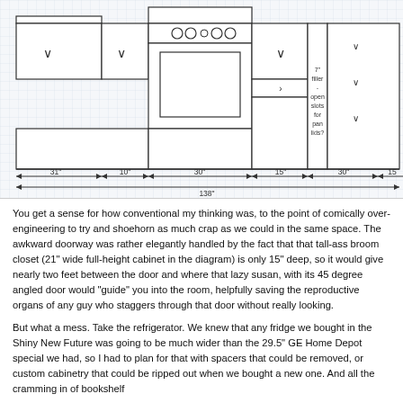[Figure (engineering-diagram): Kitchen cabinet elevation drawing showing upper and lower cabinets with a stove/range in the center. Dimensions are marked: 31", 10", 30", 15", 30", 15" and a total of 138". A 7" filler with open slots for pan lids is noted on the right side.]
You get a sense for how conventional my thinking was, to the point of comically over-engineering to try and shoehorn as much crap as we could in the same space. The awkward doorway was rather elegantly handled by the fact that that tall-ass broom closet (21" wide full-height cabinet in the diagram) is only 15" deep, so it would give nearly two feet between the door and where that lazy susan, with its 45 degree angled door would "guide" you into the room, helpfully saving the reproductive organs of any guy who staggers through that door without really looking.
But what a mess. Take the refrigerator. We knew that any fridge we bought in the Shiny New Future was going to be much wider than the 29.5" GE Home Depot special we had, so I had to plan for that with spacers that could be removed, or custom cabinetry that could be ripped out when we bought a new one. And all the cramming in of bookshelf